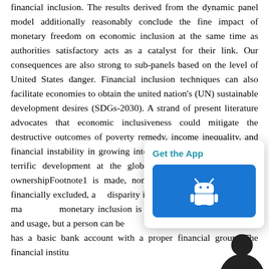financial inclusion. The results derived from the dynamic panel model additionally reasonably conclude the fine impact of monetary freedom on economic inclusion at the same time as authorities satisfactory acts as a catalyst for their link. Our consequences are also strong to sub-panels based on the level of United States danger. Financial inclusion techniques can also facilitate economies to obtain the united nation's (UN) sustainable development desires (SDGs-2030). A strand of present literature advocates that economic inclusiveness could mitigate the destructive outcomes of poverty remedy, income inequality, and financial instability in growing international locations. Although terrific development at the global degree to boom account ownershipFootnote1 is made, nonetheless a huge populace is financially excluded, and disparity in inclusive improvement. At a macro level monetary inclusion is related to access, availability, and usage, but a person can be called as financially blanketed who has a basic bank account with a proper financial group. The financial institution
[Figure (screenshot): App download popup with 'Get the App' text and Android robot icon button in blue]